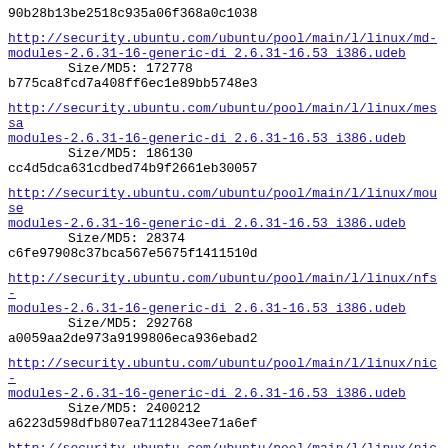90b28b13be2518c935a06f368a0c1038
http://security.ubuntu.com/ubuntu/pool/main/l/linux/md-modules-2.6.31-16-generic-di_2.6.31-16.53_i386.udeb
        Size/MD5:    172778
b775ca8fcd7a408ff6ec1e89bb5748e3
http://security.ubuntu.com/ubuntu/pool/main/l/linux/message-modules-2.6.31-16-generic-di_2.6.31-16.53_i386.udeb
        Size/MD5:    186130
cc4d5dca631cdbed74b9f2661eb30057
http://security.ubuntu.com/ubuntu/pool/main/l/linux/mouse-modules-2.6.31-16-generic-di_2.6.31-16.53_i386.udeb
        Size/MD5:     28374
c6fe97908c37bca567e5675f1411510d
http://security.ubuntu.com/ubuntu/pool/main/l/linux/nfs-modules-2.6.31-16-generic-di_2.6.31-16.53_i386.udeb
        Size/MD5:    292768
a0059aa2de973a9199806eca936ebad2
http://security.ubuntu.com/ubuntu/pool/main/l/linux/nic-modules-2.6.31-16-generic-di_2.6.31-16.53_i386.udeb
        Size/MD5:   2400212
a6223d598dfb807ea7112843ee71a6ef
http://security.ubuntu.com/ubuntu/pool/main/l/linux/nic-pcmcia-modules-2.6.31-16-generic-di_2.6.31-16.53_i386.udeb